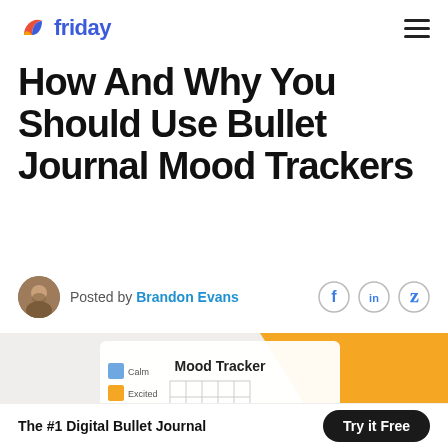friday
How And Why You Should Use Bullet Journal Mood Trackers
Posted by Brandon Evans
[Figure (illustration): Mood Tracker document with colored squares (blue for Calm, yellow for Excited) and a grid on a yellow/white background]
The #1 Digital Bullet Journal | Try it Free